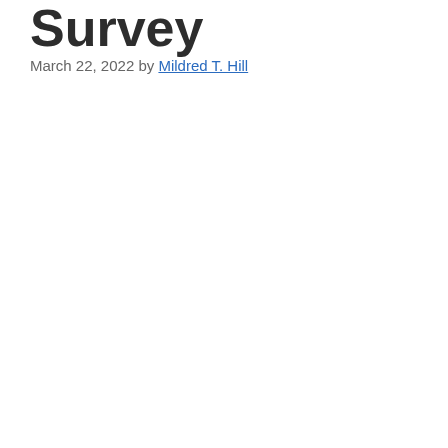Survey
March 22, 2022 by Mildred T. Hill